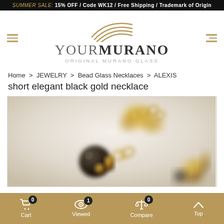SUMMER SALE: 15% OFF / Code WK12 / Free Shipping / Trademark of Origin
[Figure (logo): YourMurano logo with wing graphic above text reading YOURMURANO ORIGINAL MURANO GLASS]
Home > JEWELRY > Bead Glass Necklaces > ALEXIS short elegant black gold necklace
ALEXIS short elegant black gold necklace
[Figure (photo): Close-up photograph of black and gold Murano glass bead necklace with gold chain links against a light background]
Cart 0 | Viewed 1 | Compare 0 | Top